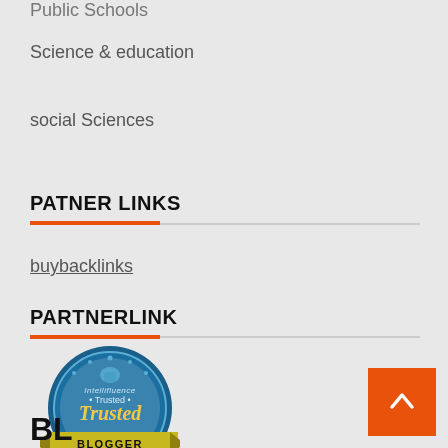Public Schools
Science & education
social Sciences
PATNER LINKS
buybacklinks
PARTNERLINK
[Figure (logo): Intellifluence Trusted Blogger badge — circular blue badge with 'Intellifluence Trusted' text and a ribbon banner at the bottom reading 'BLOGGER' in yellow/gold.]
BL